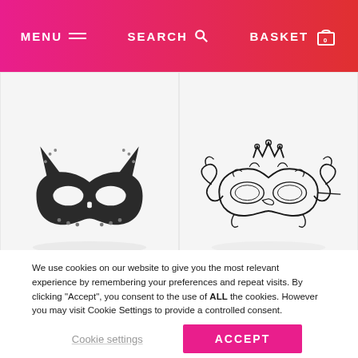MENU  SEARCH  BASKET 0
[Figure (photo): Black leather cat/devil mask with horns and studded details, shown on white background with reflection]
[Figure (photo): Ornate black filigree masquerade mask with crown design, shown on white background with reflection]
We use cookies on our website to give you the most relevant experience by remembering your preferences and repeat visits. By clicking “Accept”, you consent to the use of ALL the cookies. However you may visit Cookie Settings to provide a controlled consent.
Cookie settings
ACCEPT